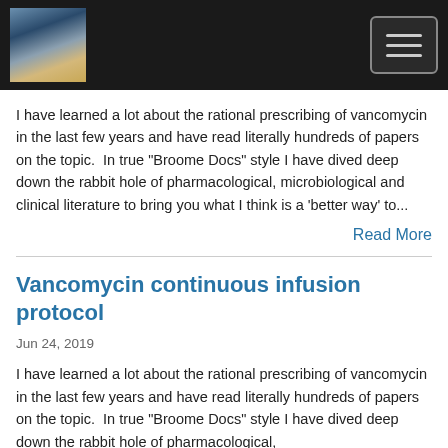[Figure (screenshot): Website header with dark background, landscape photo thumbnail on the left and hamburger menu button on the right]
I have learned a lot about the rational prescribing of vancomycin in the last few years and have read literally hundreds of papers on the topic.  In true "Broome Docs" style I have dived deep down the rabbit hole of pharmacological, microbiological and clinical literature to bring you what I think is a 'better way' to...
Read More
Vancomycin continuous infusion protocol
Jun 24, 2019
I have learned a lot about the rational prescribing of vancomycin in the last few years and have read literally hundreds of papers on the topic.  In true "Broome Docs" style I have dived deep down the rabbit hole of pharmacological,